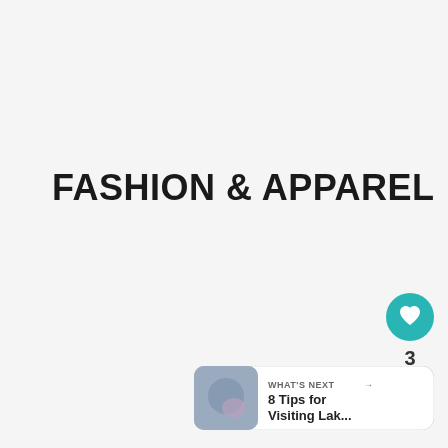FASHION & APPAREL
[Figure (infographic): Teal circular heart/like button icon with heart symbol]
3
[Figure (infographic): White circular share button with network/share icon]
[Figure (infographic): What's Next card showing thumbnail image and text '8 Tips for Visiting Lak...']
WHAT'S NEXT → 8 Tips for Visiting Lak...